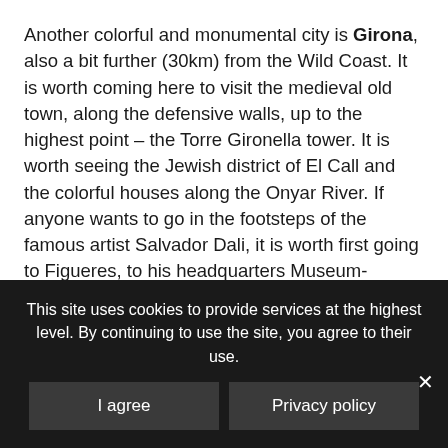Another colorful and monumental city is Girona, also a bit further (30km) from the Wild Coast. It is worth coming here to visit the medieval old town, along the defensive walls, up to the highest point – the Torre Gironella tower. It is worth seeing the Jewish district of El Call and the colorful houses along the Onyar River. If anyone wants to go in the footsteps of the famous artist Salvador Dali, it is worth first going to Figueres, to his headquarters Museum-Theater. There are a lot of works by the master himself, not only paintings, but also sculptures and strange installations. Another town associated with Salvador is Cadaques, where his monument stands, and in nearby Port Lligat is his
This site uses cookies to provide services at the highest level. By continuing to use the site, you agree to their use.
I agree
Privacy policy